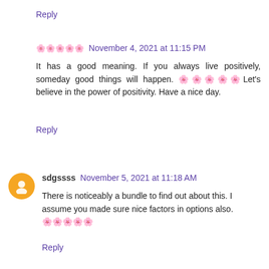Reply
🌸🌸🌸🌸🌸 November 4, 2021 at 11:15 PM
It has a good meaning. If you always live positively, someday good things will happen. 🌸🌸🌸🌸🌸Let's believe in the power of positivity. Have a nice day.
Reply
sdgssss November 5, 2021 at 11:18 AM
There is noticeably a bundle to find out about this. I assume you made sure nice factors in options also. 🌸🌸🌸🌸🌸
Reply